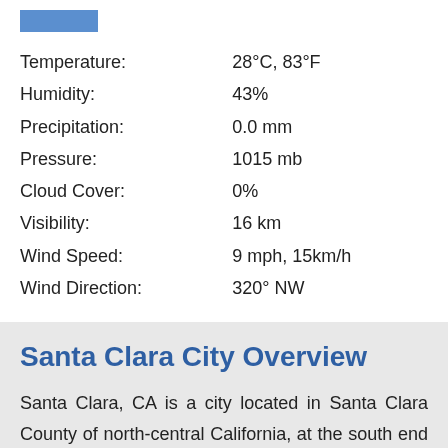[Figure (other): Blue rectangular bar/image at top]
| Temperature: | 28°C, 83°F |
| Humidity: | 43% |
| Precipitation: | 0.0 mm |
| Pressure: | 1015 mb |
| Cloud Cover: | 0% |
| Visibility: | 16 km |
| Wind Speed: | 9 mph, 15km/h |
| Wind Direction: | 320° NW |
Santa Clara City Overview
Santa Clara, CA is a city located in Santa Clara County of north-central California, at the south end of San Francisco Bay. Santa Clara is